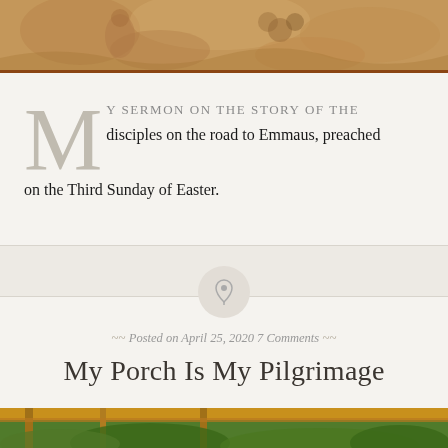[Figure (photo): Top portion of a decorative tapestry or fresco with earthy tones showing figures and foliage]
My sermon on the story of the disciples on the road to Emmaus, preached on the Third Sunday of Easter.
[Figure (illustration): Small circular pin/thumbtack icon on a light grey circle background]
Posted on April 25, 2020 7 Comments
My Porch Is My Pilgrimage
[Figure (photo): Bottom edge of a porch with wooden beams and green trees/foliage visible in the background]